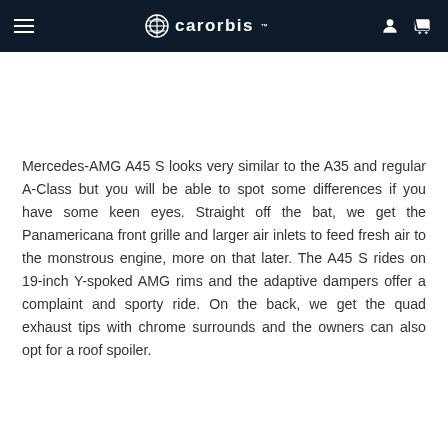carorbis
Mercedes-AMG A45 S looks very similar to the A35 and regular A-Class but you will be able to spot some differences if you have some keen eyes. Straight off the bat, we get the Panamericana front grille and larger air inlets to feed fresh air to the monstrous engine, more on that later. The A45 S rides on 19-inch Y-spoked AMG rims and the adaptive dampers offer a complaint and sporty ride. On the back, we get the quad exhaust tips with chrome surrounds and the owners can also opt for a roof spoiler.